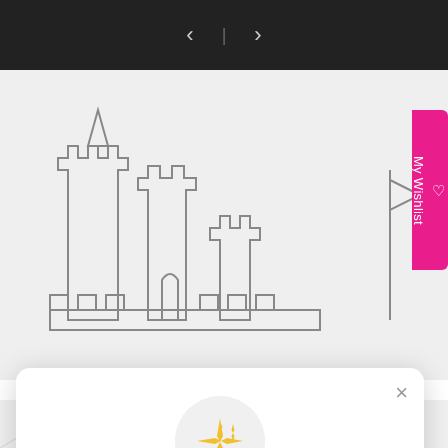[Figure (screenshot): Navigation bar with left arrow, separator pipe, and right arrow on black background]
[Figure (illustration): Castle die-cut outline shapes on light gray background (left) and colored sandcastle clipart images on light gray background (right)]
[Figure (infographic): My Wishlist vertical pink tab on right side]
[Figure (infographic): Modal dialog with sparkle icon, title 'Unlock exclusive rewards and perks', subtitle 'Sign up or Log in', Sign up button, and 'Already have an account? Sign in' link]
Unlock exclusive rewards and perks
Sign up or Log in
Sign up
Already have an account? Sign in